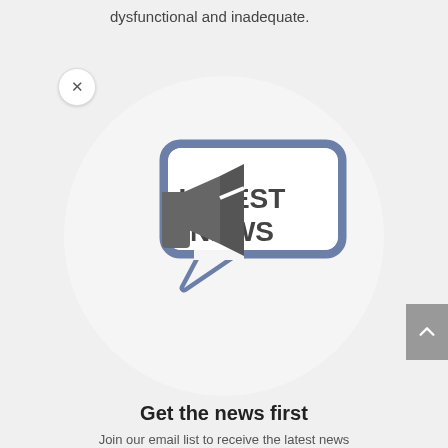dysfunctional and inadequate.
[Figure (illustration): Latest News icon: a megaphone pointing right toward a speech bubble with rounded rectangle shape containing the bold text LATEST NEWS, in dark gray and steel blue, inside a white circle on light gray background]
Get the news first
Join our email list to receive the latest news